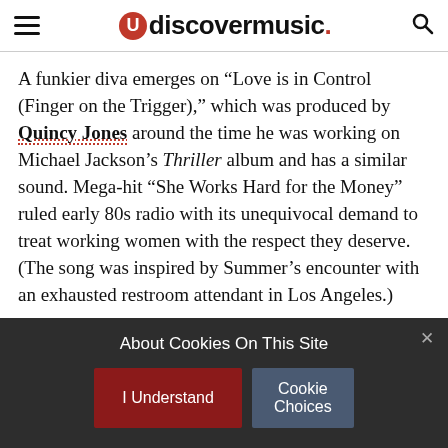udiscovermusic.
A funkier diva emerges on “Love is in Control (Finger on the Trigger),” which was produced by Quincy Jones around the time he was working on Michael Jackson’s Thriller album and has a similar sound. Mega-hit “She Works Hard for the Money” ruled early 80s radio with its unequivocal demand to treat working women with the respect they deserve. (The song was inspired by Summer’s encounter with an exhausted restroom attendant in Los Angeles.)
About Cookies On This Site
I Understand
Cookie Choices